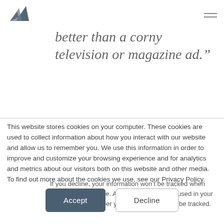[Figure (logo): Triangular mountain-like logo in dark blue/grey tones]
better than a corny television or magazine ad.”
This website stores cookies on your computer. These cookies are used to collect information about how you interact with our website and allow us to remember you. We use this information in order to improve and customize your browsing experience and for analytics and metrics about our visitors both on this website and other media. To find out more about the cookies we use, see our Privacy Policy.
If you decline, your information won’t be tracked when you visit this website. A single cookie will be used in your browser to remember your preference not to be tracked.
Accept
Decline